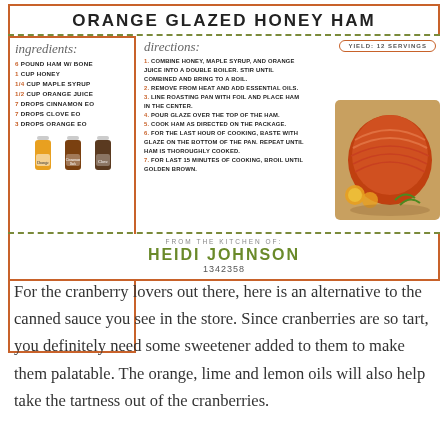ORANGE GLAZED HONEY HAM
6 POUND HAM W/ BONE
1 CUP HONEY
1/4 CUP MAPLE SYRUP
1/2 CUP ORANGE JUICE
7 DROPS CINNAMON EO
7 DROPS CLOVE EO
3 DROPS ORANGE EO
1. COMBINE HONEY, MAPLE SYRUP, AND ORANGE JUICE INTO A DOUBLE BOILER. STIR UNTIL COMBINED AND BRING TO A BOIL.
2. REMOVE FROM HEAT AND ADD ESSENTIAL OILS.
3. LINE ROASTING PAN WITH FOIL AND PLACE HAM IN THE CENTER.
4. POUR GLAZE OVER THE TOP OF THE HAM.
5. COOK HAM AS DIRECTED ON THE PACKAGE.
6. FOR THE LAST HOUR OF COOKING, BASTE WITH GLAZE ON THE BOTTOM OF THE PAN. REPEAT UNTIL HAM IS THOROUGHLY COOKED.
7. FOR LAST 15 MINUTES OF COOKING, BROIL UNTIL GOLDEN BROWN.
FROM THE KITCHEN OF: HEIDI JOHNSON 1342358
[Figure (photo): Photo of a glazed honey ham on a cutting board with orange slices and garnish]
For the cranberry lovers out there, here is an alternative to the canned sauce you see in the store. Since cranberries are so tart, you definitely need some sweetener added to them to make them palatable. The orange, lime and lemon oils will also help take the tartness out of the cranberries.